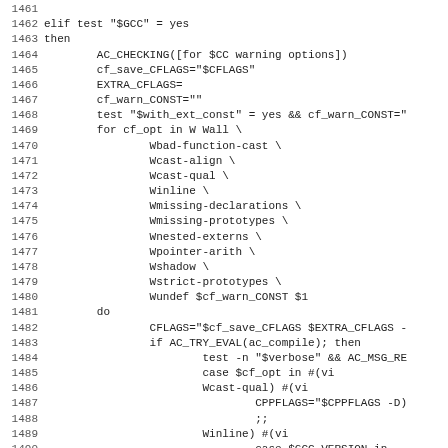[Figure (other): Source code listing (shell/configure script) showing lines 1461-1492, including GCC compiler warning options configuration loop with AC_CHECKING, cf_save_CFLAGS, EXTRA_CFLAGS, cf_warn_CONST, and various warning flags like Wbad-function-cast, Wcast-align, Wcast-qual, Winline, Wmissing-declarations, Wmissing-prototypes, Wnested-externs, Wpointer-arith, Wshadow, Wstrict-prototypes, Wundef, and do loop with CFLAGS, AC_TRY_EVAL, case statements and CF_VERBOSE.]